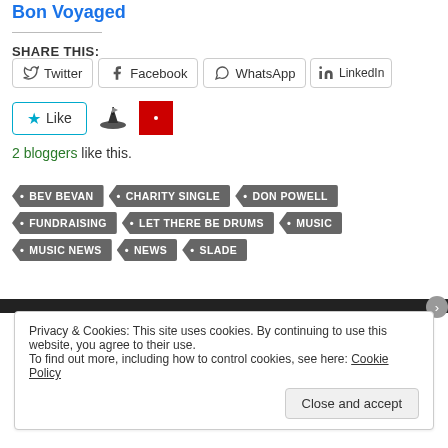Bon Voyaged
SHARE THIS:
Twitter | Facebook | WhatsApp | LinkedIn | More
Like | 2 bloggers like this.
BEV BEVAN
CHARITY SINGLE
DON POWELL
FUNDRAISING
LET THERE BE DRUMS
MUSIC
MUSIC NEWS
NEWS
SLADE
Privacy & Cookies: This site uses cookies. By continuing to use this website, you agree to their use. To find out more, including how to control cookies, see here: Cookie Policy